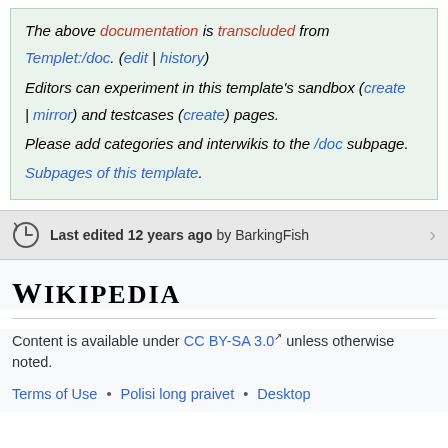The above documentation is transcluded from Templet:/doc. (edit | history) Editors can experiment in this template's sandbox (create | mirror) and testcases (create) pages. Please add categories and interwikis to the /doc subpage. Subpages of this template.
Last edited 12 years ago by BarkingFish
[Figure (logo): Wikipedia logo text]
Content is available under CC BY-SA 3.0 unless otherwise noted.
Terms of Use • Polisi long praivet • Desktop